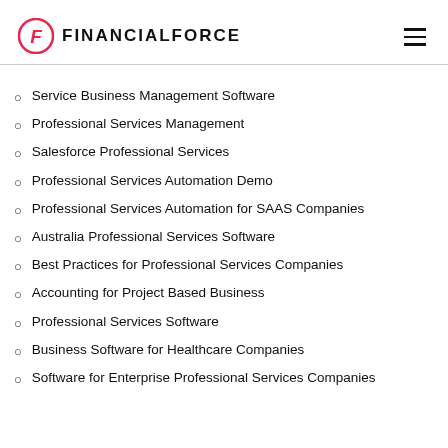FINANCIALFORCE
Service Business Management Software
Professional Services Management
Salesforce Professional Services
Professional Services Automation Demo
Professional Services Automation for SAAS Companies
Australia Professional Services Software
Best Practices for Professional Services Companies
Accounting for Project Based Business
Professional Services Software
Business Software for Healthcare Companies
Software for Enterprise Professional Services Companies